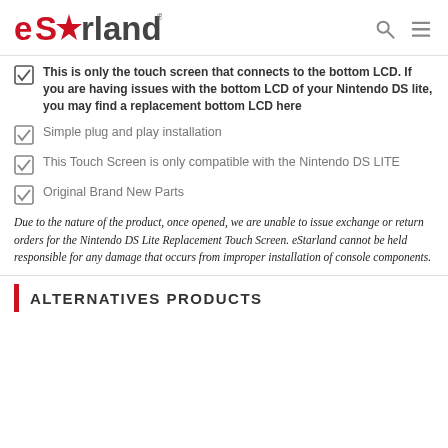eStarland
This is only the touch screen that connects to the bottom LCD. If you are having issues with the bottom LCD of your Nintendo DS lite, you may find a replacement bottom LCD here
Simple plug and play installation
This Touch Screen is only compatible with the Nintendo DS LITE
Original Brand New Parts
Due to the nature of the product, once opened, we are unable to issue exchange or return orders for the Nintendo DS Lite Replacement Touch Screen. eStarland cannot be held responsible for any damage that occurs from improper installation of console components.
ALTERNATIVES PRODUCTS